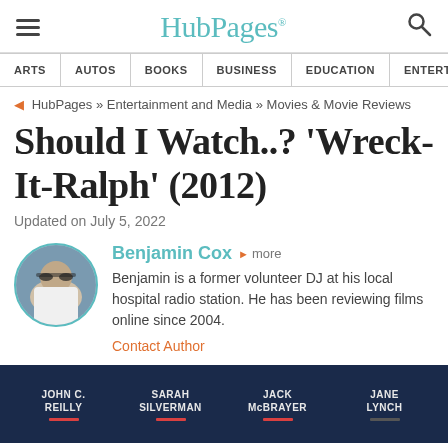HubPages
ARTS | AUTOS | BOOKS | BUSINESS | EDUCATION | ENTERTA
HubPages » Entertainment and Media » Movies & Movie Reviews
Should I Watch..? 'Wreck-It-Ralph' (2012)
Updated on July 5, 2022
Benjamin Cox  more
Benjamin is a former volunteer DJ at his local hospital radio station. He has been reviewing films online since 2004.
Contact Author
[Figure (photo): Movie banner showing cast: John C. Reilly, Sarah Silverman, Jack McBrayer, Jane Lynch on a dark blue background]